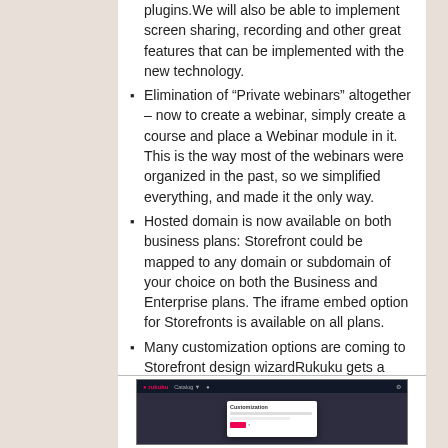plugins.We will also be able to implement screen sharing, recording and other great features that can be implemented with the new technology.
Elimination of “Private webinars” altogether – now to create a webinar, simply create a course and place a Webinar module in it. This is the way most of the webinars were organized in the past, so we simplified everything, and made it the only way.
Hosted domain is now available on both business plans: Storefront could be mapped to any domain or subdomain of your choice on both the Business and Enterprise plans. The iframe embed option for Storefronts is available on all plans.
Many customization options are coming to Storefront design wizardRukuku gets a completely new, modern interface that is simpler, cleaner and more intuitive. This is accompanied with an upgrade of the under-the-hood infrastructure.
[Figure (screenshot): Screenshot of a dark-themed application interface showing a Customization dialog box.]